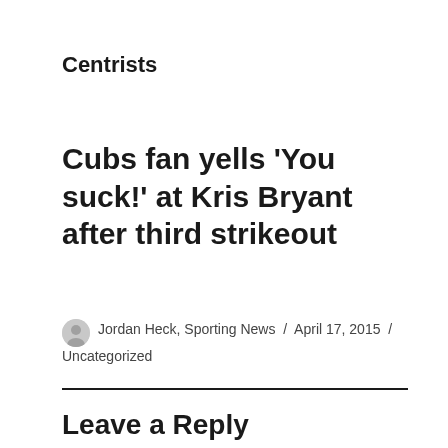Centrists
Cubs fan yells ‘You suck!’ at Kris Bryant after third strikeout
Jordan Heck, Sporting News / April 17, 2015 / Uncategorized
Leave a Reply